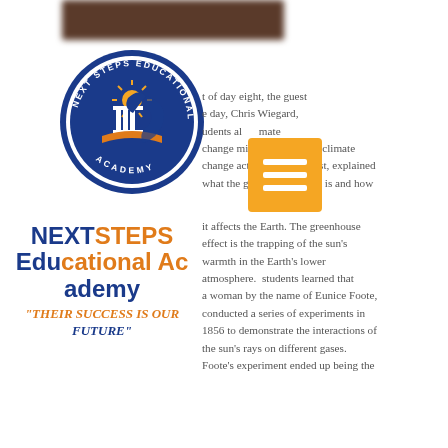[Figure (logo): Next Steps Educational Academy circular logo with blue border, orange sun, white pillars, and blue swoosh figure]
t of day eight, the guest e day, Chris Wiegard, udents al mate change mi Wiegard, w climate change activist and lobbyist, explained what the greenhouse effect is and how it affects the Earth. The greenhouse effect is the trapping of the sun's warmth in the Earth's lower atmosphere. students learned that a woman by the name of Eunice Foote, conducted a series of experiments in 1856 to demonstrate the interactions of the sun's rays on different gases. Foote's experiment ended up being the
[Figure (other): Orange square menu/hamburger icon with three white horizontal lines]
NEXT STEPS Educational Academy
"THEIR SUCCESS IS OUR FUTURE"